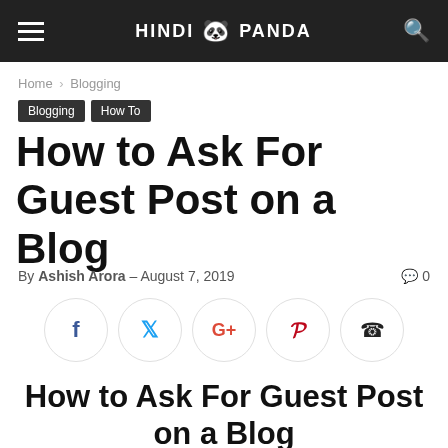HINDI PANDA
Home › Blogging
Blogging  How To
How to Ask For Guest Post on a Blog
By Ashish Arora – August 7, 2019   0
[Figure (infographic): Social share buttons: Facebook, Twitter, Google+, Pinterest, WhatsApp]
How to Ask For Guest Post on a Blog